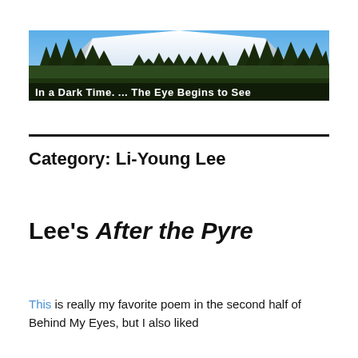[Figure (photo): Banner photo of a snow-capped mountain (likely Mt. Rainier) with evergreen trees in the foreground and a blue sky. A caption overlay reads: 'In a Dark Time. ... The Eye Begins to See']
Category: Li-Young Lee
Lee's After the Pyre
This is really my favorite poem in the second half of Behind My Eyes, but I also liked